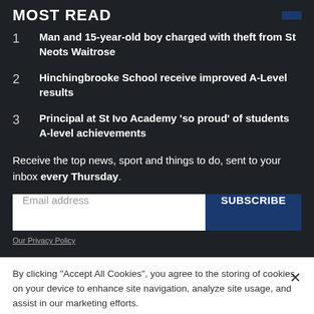MOST READ
1  Man and 15-year-old boy charged with theft from St Neots Waitrose
2  Hinchingbrooke School receive improved A-Level results
3  Principal at St Ivo Academy 'so proud' of students A-level achievements
Receive the top news, sport and things to do, sent to your inbox every Thursday.
Email address
SUBSCRIBE
Our Privacy Policy
By clicking "Accept All Cookies", you agree to the storing of cookies on your device to enhance site navigation, analyze site usage, and assist in our marketing efforts.